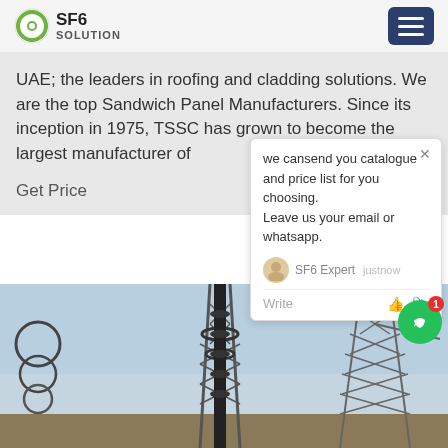SF6 SOLUTION
UAE; the leaders in roofing and cladding solutions. We are the top Sandwich Panel Manufacturers. Since its inception in 1975, TSSC has grown to become the largest manufacturer of
Get Price
we cansend you catalogue and price list for you choosing.
Leave us your email or whatsapp.
SF6 Expert   justnow
Write
[Figure (photo): Electrical transmission towers and power infrastructure against a sky backdrop, showing lattice steel towers and cylindrical insulators.]